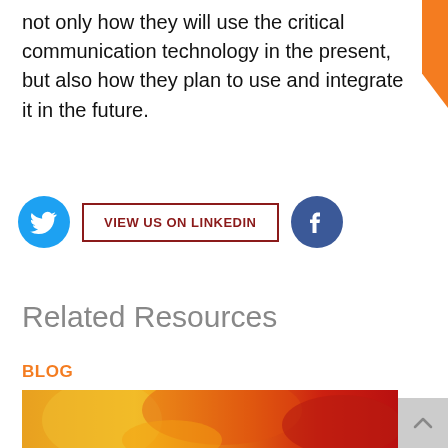not only how they will use the critical communication technology in the present, but also how they plan to use and integrate it in the future.
[Figure (infographic): Social media buttons row: Twitter bird icon (cyan circle), VIEW US ON LINKEDIN button (dark red border), Facebook F icon (dark blue circle)]
Related Resources
BLOG
[Figure (photo): Photo of firefighter or worker in bright orange/yellow/red protective gear, flames visible, close-up action shot]